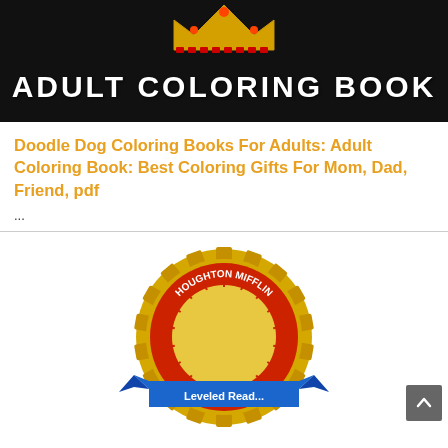[Figure (photo): Book cover with black background showing a crown/animal design at top and 'ADULT COLORING BOOK' text in white bold letters]
Doodle Dog Coloring Books For Adults: Adult Coloring Book: Best Coloring Gifts For Mom, Dad, Friend, pdf
...
[Figure (logo): Houghton Mifflin Leveled Readers logo — a golden gear/sun badge with red circular text reading 'HOUGHTON MIFFLIN' around the outside and a blue ribbon banner at the bottom reading 'Leveled Read...']